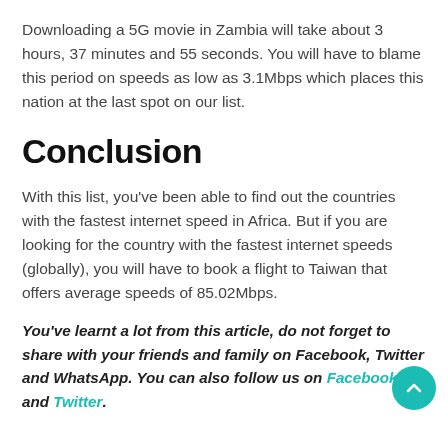Downloading a 5G movie in Zambia will take about 3 hours, 37 minutes and 55 seconds. You will have to blame this period on speeds as low as 3.1Mbps which places this nation at the last spot on our list.
Conclusion
With this list, you've been able to find out the countries with the fastest internet speed in Africa. But if you are looking for the country with the fastest internet speeds (globally), you will have to book a flight to Taiwan that offers average speeds of 85.02Mbps.
You've learnt a lot from this article, do not forget to share with your friends and family on Facebook, Twitter and WhatsApp. You can also follow us on Facebook and Twitter.